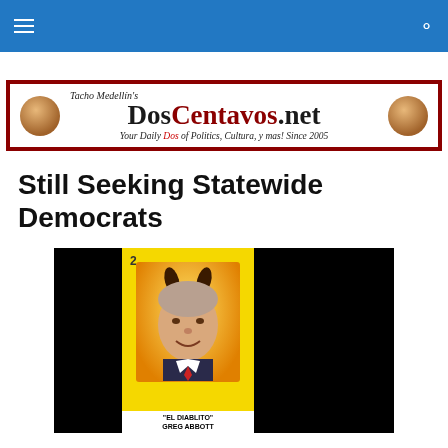Navigation bar with hamburger menu and search icon
[Figure (logo): DosCentavos.net banner logo with two pennies, dark red border. Text reads: Tacho Medellín's DosCentavos.net — Your Daily Dos of Politics, Cultura, y mas! Since 2005]
Still Seeking Statewide Democrats
[Figure (photo): Lotería-style card showing a man's face with devil horns drawn on against a yellow/orange background. The card is numbered 2 and captioned 'EL DIABLITO' GREG ABBOTT. Black rectangular blocks flank the card on both sides.]